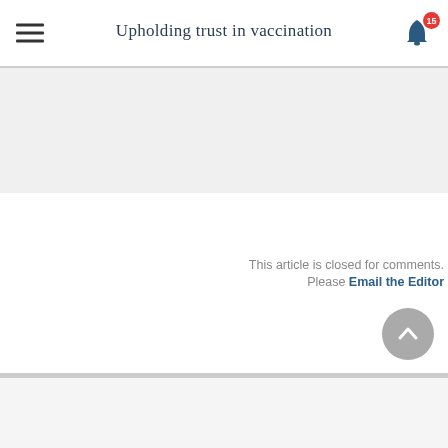Upholding trust in vaccination
This article is closed for comments. Please Email the Editor